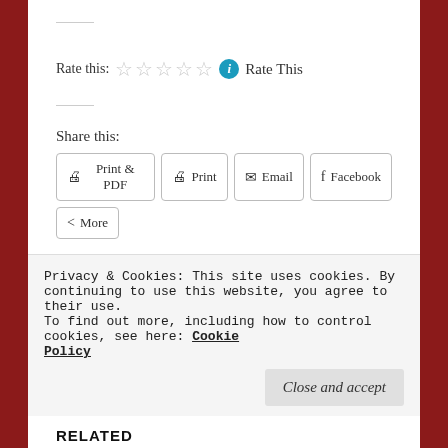Rate this: ☆ ☆ ☆ ☆ ☆  ℹ Rate This
Share this:
Print & PDF | Print | Email | Facebook
More
Like
Privacy & Cookies: This site uses cookies. By continuing to use this website, you agree to their use.
To find out more, including how to control cookies, see here: Cookie Policy
Close and accept
RELATED